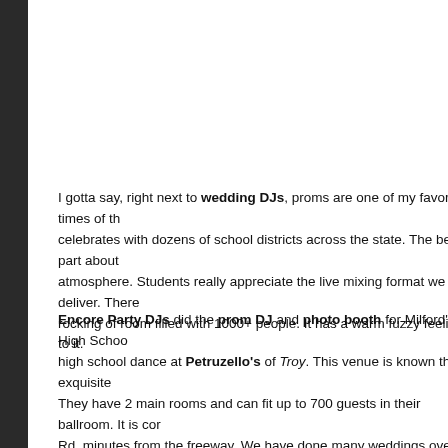I gotta say, right next to wedding DJs, proms are one of my favorite times of th… celebrates with dozens of school districts across the state. The best part about atmosphere. Students really appreciate the live mixing format we deliver. There rocking of room filled with 1000+ people. It has a warm fuzzy feeling to it.
Encore Party DJs did the prom DJ and photo booth for Milford's High Schoo… high school dance at Petruzello's of Troy. This venue is known their exquisite They have 2 main rooms and can fit up to 700 guests in their ballroom. It is cor… Rd. minutes from the freeway. We have done many weddings over the years a… locations to setup our lighting fixtures. We fit the photo booth in the same roo… the booth is very important. If you hide the photo booth in a hallway or out of si… forget there is even one there. We recommend that you keep your booth close beverage area. This ensures you get the maximum amount of use from your re…
It was really cool, because Sam (one of our talents) graduated from Milford Hi… prove himself in-front of his alma mater. We were able to get him up behind the of sets when the party was rocking. I remember seeing him get high fives from put on quite a show for everyone! Our mixes were dead-on, songs transitioned booth stayed busy all night long. We honestly got too many great photos from t…